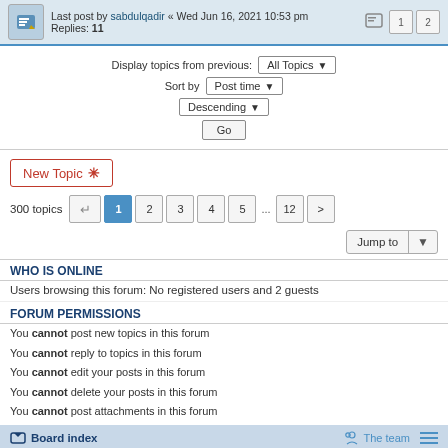Last post by sabdulqadir « Wed Jun 16, 2021 10:53 pm
Replies: 11
Display topics from previous: All Topics
Sort by Post time
Descending
Go
New Topic
300 topics  1 2 3 4 5 ... 12 >
Jump to
WHO IS ONLINE
Users browsing this forum: No registered users and 2 guests
FORUM PERMISSIONS
You cannot post new topics in this forum
You cannot reply to topics in this forum
You cannot edit your posts in this forum
You cannot delete your posts in this forum
You cannot post attachments in this forum
Board index  The team
Powered by phpBB® Forum Software © phpBB Limited